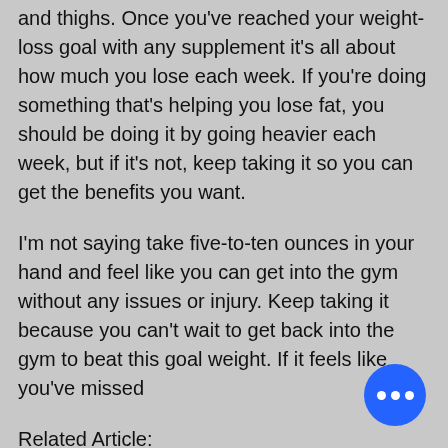and thighs. Once you've reached your weight-loss goal with any supplement it's all about how much you lose each week. If you're doing something that's helping you lose fat, you should be doing it by going heavier each week, but if it's not, keep taking it so you can get the benefits you want.
I'm not saying take five-to-ten ounces in your hand and feel like you can get into the gym without any issues or injury. Keep taking it because you can't wait to get back into the gym to beat this goal weight. If it feels like you've missed
Related Article: https://chichaweb.com/community/profile/gcutting46016588/ https://www.simplysierrablogs.com/profile/best-sarm-for-fat-burning-reddit-can-you-9481/profile
[Figure (other): Blue circular chat/more options button with three white dots in the bottom right corner]